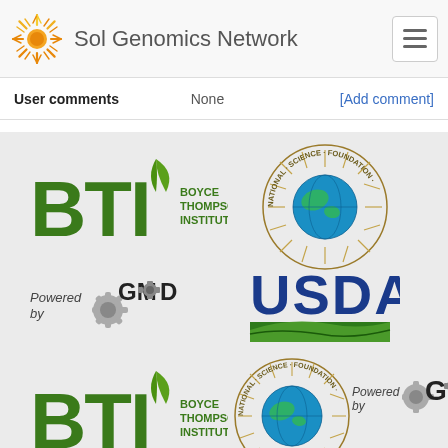Sol Genomics Network
User comments   None   [Add comment]
[Figure (logo): BTI Boyce Thompson Institute logo (green letters)]
[Figure (logo): National Science Foundation circular logo]
[Figure (logo): Powered by GMOD logo with gear icons]
[Figure (logo): USDA logo with green landscape swoosh]
[Figure (logo): BTI Boyce Thompson Institute logo (green letters) - second instance]
[Figure (logo): National Science Foundation circular logo - second instance]
[Figure (logo): Powered by GMOD logo with gear icons - second instance]
[Figure (logo): USDA logo with green landscape swoosh - second instance]